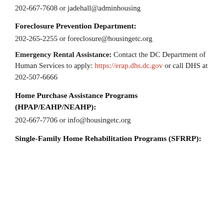202-667-7608 or jadehall@adminhousing
Foreclosure Prevention Department:
202-265-2255 or foreclosure@housingetc.org
Emergency Rental Assistance: Contact the DC Department of Human Services to apply: https://erap.dhs.dc.gov or call DHS at 202-507-6666
Home Purchase Assistance Programs (HPAP/EAHP/NEAHP):
202-667-7706 or info@housingetc.org
Single-Family Home Rehabilitation Programs (SFRRP):